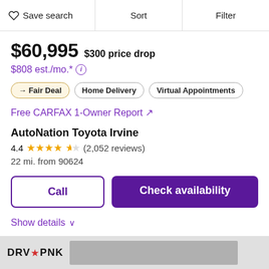Save search  Sort  Filter
$60,995  $300 price drop
$808 est./mo.* ⓘ
→ Fair Deal  Home Delivery  Virtual Appointments
Free CARFAX 1-Owner Report ↗
AutoNation Toyota Irvine
4.4 ★★★★½ (2,052 reviews)
22 mi. from 90624
Call  Check availability
Show details ∨